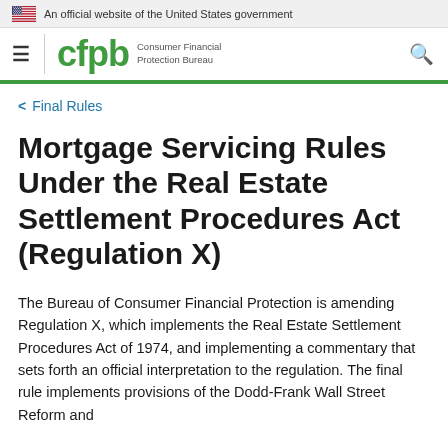An official website of the United States government
cfpb Consumer Financial Protection Bureau
< Final Rules
Mortgage Servicing Rules Under the Real Estate Settlement Procedures Act (Regulation X)
The Bureau of Consumer Financial Protection is amending Regulation X, which implements the Real Estate Settlement Procedures Act of 1974, and implementing a commentary that sets forth an official interpretation to the regulation. The final rule implements provisions of the Dodd-Frank Wall Street Reform and